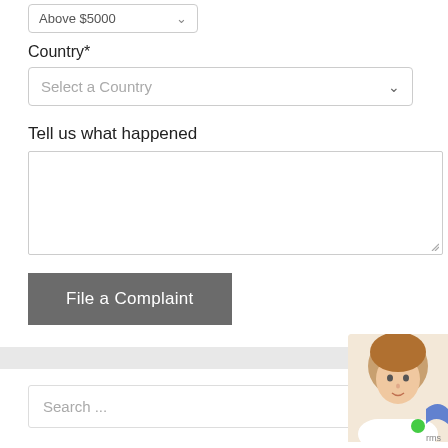Above $5000 (dropdown)
Country*
Select a Country (dropdown)
Tell us what happened
(textarea)
File a Complaint (button)
Search ...